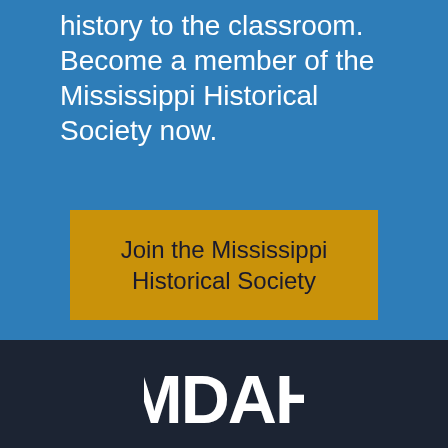history to the classroom. Become a member of the Mississippi Historical Society now.
Join the Mississippi Historical Society
[Figure (logo): MDAH logo in white text on dark navy background]